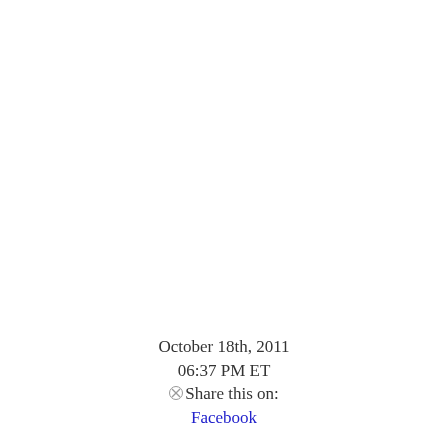October 18th, 2011
06:37 PM ET
⊗Share this on:
Facebook